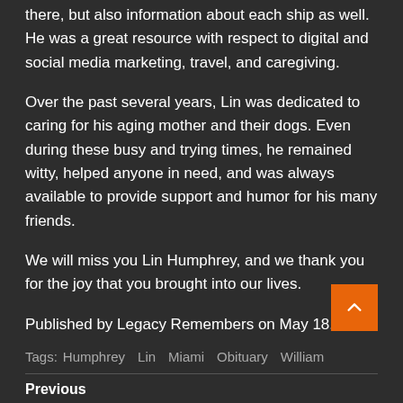there, but also information about each ship as well. He was a great resource with respect to digital and social media marketing, travel, and caregiving.
Over the past several years, Lin was dedicated to caring for his aging mother and their dogs. Even during these busy and trying times, he remained witty, helped anyone in need, and was always available to provide support and humor for his many friends.
We will miss you Lin Humphrey, and we thank you for the joy that you brought into our lives.
Published by Legacy Remembers on May 18, 2022.
Tags: Humphrey  Lin  Miami  Obituary  William
Previous
Some Important Internet Marketing Strategies
Sundown Marketing is now Too Darn Loud Digital